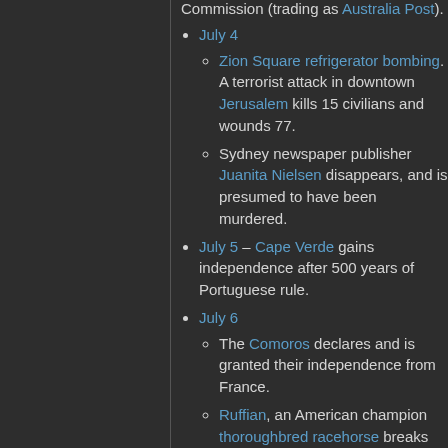Commission (trading as Australia Post).
July 4
Zion Square refrigerator bombing. A terrorist attack in downtown Jerusalem kills 15 civilians and wounds 77.
Sydney newspaper publisher Juanita Nielsen disappears, and is presumed to have been murdered.
July 5 – Cape Verde gains independence after 500 years of Portuguese rule.
July 6
The Comoros declares and is granted their independence from France.
Ruffian, an American champion thoroughbred racehorse breaks